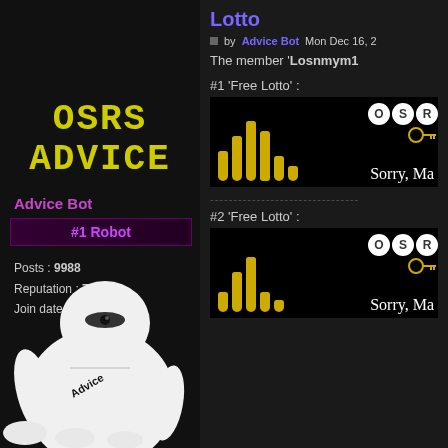[Figure (screenshot): Forum page screenshot showing OSRS Advice forum with sidebar and post content]
OSRS ADVICE
Advice Bot
#1 Robot
Posts : 9988
Reputation : 72
Join date : 2014-12-18
[Figure (illustration): Baymax character from Big Hero 6 with 'Advice' written on it]
Lotto
by Advice Bot Mon Dec 16, 2
The member 'Losnmym1
#1 'Free Lotto' :
[Figure (screenshot): OSRS lotto image showing yellow bars and text 'Sorry, Ma']
-------------------------------
#2 'Free Lotto' :
[Figure (screenshot): OSRS lotto image showing yellow bars and text 'Sorry, Ma']